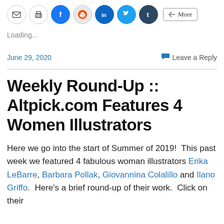[Figure (other): Social sharing buttons: email, print, Facebook, Reddit, LinkedIn, Twitter, Tumblr, and a More button]
Loading...
June 29, 2020   Leave a Reply
Weekly Round-Up :: Altpick.com Features 4 Women Illustrators
Here we go into the start of Summer of 2019!  This past week we featured 4 fabulous woman illustrators Erika LeBarre, Barbara Pollak, Giovannina Colalillo and Ilano Griffo.  Here's a brief round-up of their work.  Click on their